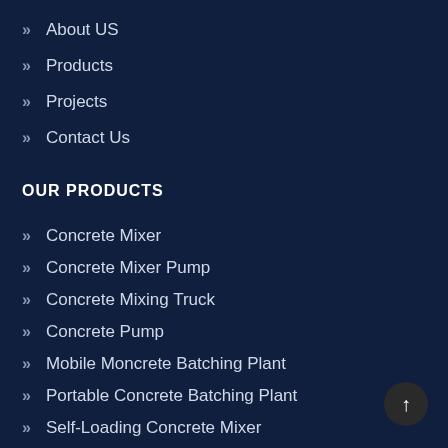About US
Products
Projects
Contact Us
OUR PRODUCTS
Concrete Mixer
Concrete Mixer Pump
Concrete Mixing Truck
Concrete Pump
Mobile Moncrete Batching Plant
Portable Concrete Batching Plant
Self-Loading Concrete Mixer